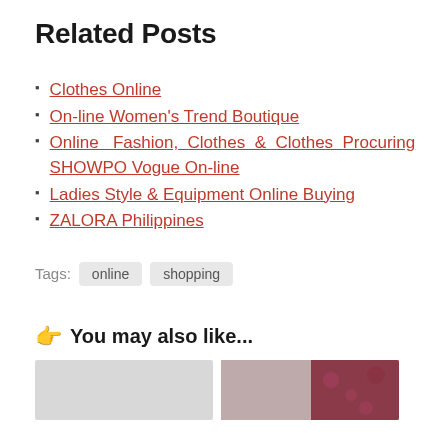Related Posts
Clothes Online
On-line Women's Trend Boutique
Online Fashion, Clothes & Clothes Procuring SHOWPO Vogue On-line
Ladies Style & Equipment Online Buying
ZALORA Philippines
Tags: online shopping
👉 You may also like...
[Figure (photo): Two thumbnail images below 'You may also like...' section: a grey placeholder image on the left and a decorative patterned image on the right]